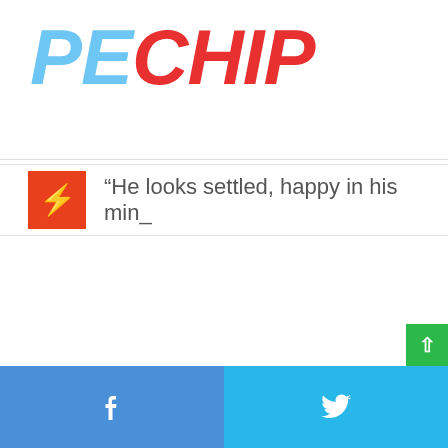PECHIP
“He looks settled, happy in his min_
Facebook | Twitter social share buttons